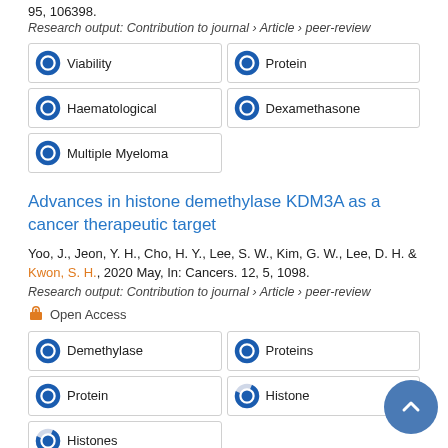95, 106398.
Research output: Contribution to journal › Article › peer-review
100% Viability
100% Protein
100% Haematological
100% Dexamethasone
100% Multiple Myeloma
Advances in histone demethylase KDM3A as a cancer therapeutic target
Yoo, J., Jeon, Y. H., Cho, H. Y., Lee, S. W., Kim, G. W., Lee, D. H. & Kwon, S. H., 2020 May, In: Cancers. 12, 5, 1098.
Research output: Contribution to journal › Article › peer-review
Open Access
100% Demethylase
100% Proteins
100% Protein
75% Histone
75% Histones